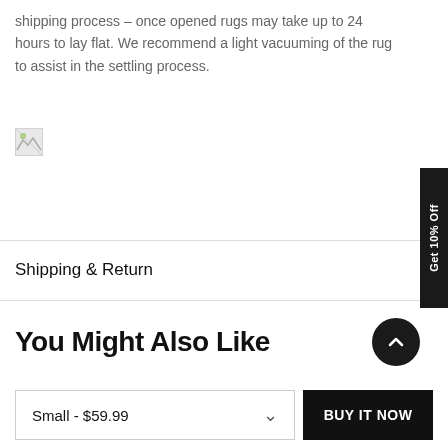shipping process – once opened rugs may take up to 24 hours to lay flat. We recommend a light vacuuming of the rug to assist in the settling process.
[Figure (photo): Broken/missing image placeholder icon]
Shipping & Return
You Might Also Like
Small - $59.99
BUY IT NOW